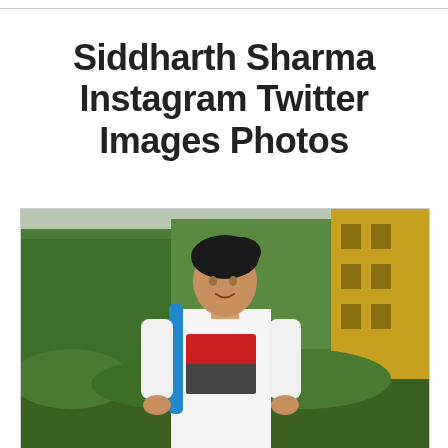Siddharth Sharma Instagram Twitter Images Photos
[Figure (photo): Young man with dark hair wearing a white graphic t-shirt with a blue bag strap, looking down, standing outdoors with green trees and a yellow building in the background]